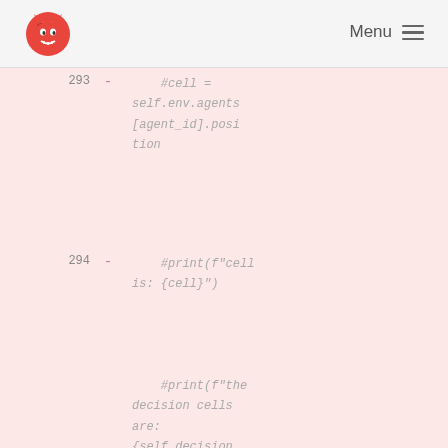Menu
[Figure (screenshot): Code diff view showing deleted lines 293-296 with Python comments: #cell = self.env.agents[agent_id].position, #print(f"cell is: {cell}"), #print(f"the decision cells are: {self.decision_cells}"), and a line of hash characters. Line 295 shows new line number 225 on the right.]